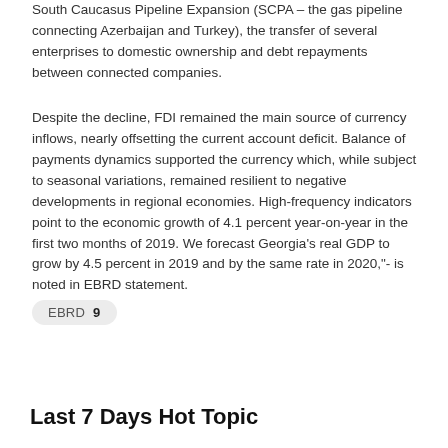South Caucasus Pipeline Expansion (SCPA – the gas pipeline connecting Azerbaijan and Turkey), the transfer of several enterprises to domestic ownership and debt repayments between connected companies.
Despite the decline, FDI remained the main source of currency inflows, nearly offsetting the current account deficit. Balance of payments dynamics supported the currency which, while subject to seasonal variations, remained resilient to negative developments in regional economies. High-frequency indicators point to the economic growth of 4.1 percent year-on-year in the first two months of 2019. We forecast Georgia's real GDP to grow by 4.5 percent in 2019 and by the same rate in 2020,"- is noted in EBRD statement.
EBRD 9
Last 7 Days Hot Topic